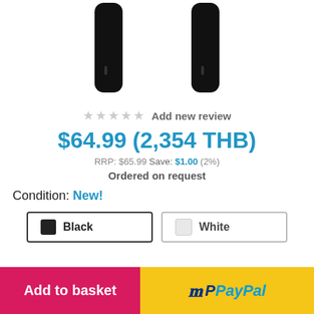[Figure (photo): Two black elongated device images (wireless earbuds or similar product) shown side by side against white background]
★★★★★ Add new review
$64.99 (2,354 THB)
RRP: $65.99 Save: $1.00 (2%)
Ordered on request
Condition: New!
Black | White (color options)
Add to basket
PayPal